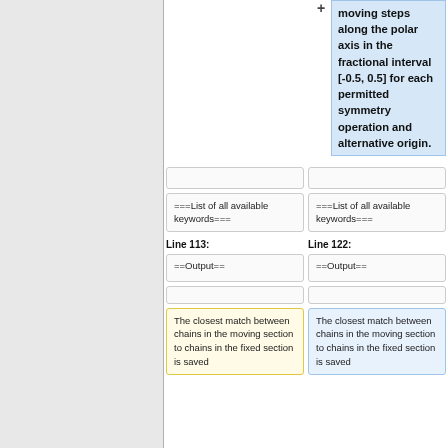moving steps along the polar axis in the fractional interval [-0.5, 0.5] for each permitted symmetry operation and alternative origin.
===List of all available keywords===
===List of all available keywords===
Line 113:
Line 122:
==Output==
==Output==
The closest match between chains in the moving section to chains in the fixed section is saved
The closest match between chains in the moving section to chains in the fixed section is saved